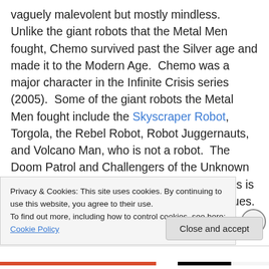vaguely malevolent but mostly mindless.  Unlike the giant robots that the Metal Men fought, Chemo survived past the Silver age and made it to the Modern Age.  Chemo was a major character in the Infinite Crisis series (2005).  Some of the giant robots the Metal Men fought include the Skyscraper Robot, Torgola, the Rebel Robot, Robot Juggernauts, and Volcano Man, who is not a robot.  The Doom Patrol and Challengers of the Unknown also fight a Volcano Man but I don't think this is the same one.  The author looked at 56 issues.  The Metal Men battled 6 big monsters.  The ratio of issues to monster is 56 / 6 = 9.3
Privacy & Cookies: This site uses cookies. By continuing to use this website, you agree to their use.
To find out more, including how to control cookies, see here: Cookie Policy